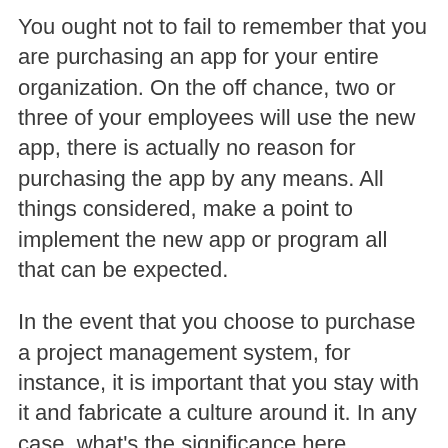You ought not to fail to remember that you are purchasing an app for your entire organization. On the off chance, two or three of your employees will use the new app, there is actually no reason for purchasing the app by any means. All things considered, make a point to implement the new app or program all that can be expected.
In the event that you choose to purchase a project management system, for instance, it is important that you stay with it and fabricate a culture around it. In any case, what's the significance here precisely?
Indeed, say that you have purchased Asana. You ought to ask your employees to completely focus on utilizing it. At the end of the day, they ought to try not to use different channels/mediums to share documents, post updates about projects, etc.
It is important that you must also be the...